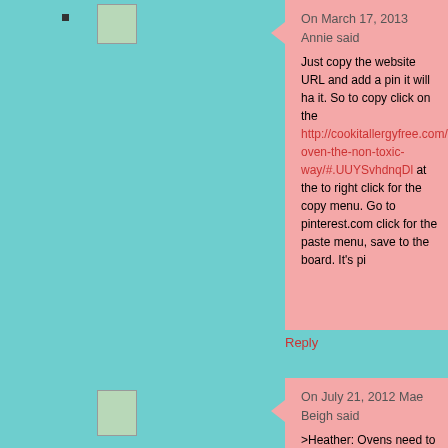On March 17, 2013 Annie said
Just copy the website URL and add a pin it will ha it. So to copy click on the http://cookitallergyfree.com/blog/2012/07/quickest-oven-the-non-toxic-way/#.UUYSvhdnqDl at the to right click for the copy menu. Go to pinterest.com click for the paste menu, save to the board. It's pi
Reply
On July 21, 2012 Mae Beigh said
>Heather: Ovens need to be cleaned?< ...LOL I k
Another good chem-free, natural cleaner is tomat
Not for oven cleaning–it'd probably be messier tha grime–but for burned-on, charred gunk in the bott (metal or glass) that must be hand-washed, it sure scraping & scouring. Just pour the juice straight fr into your pan, let it sit for a bit (no cooling or heati rinse away all residue. Follow-up with a quick was KP duties are over—simple as that!
Mae ;D
Reply
On July 25, 2012 Kim-Cook It Allergy Free said